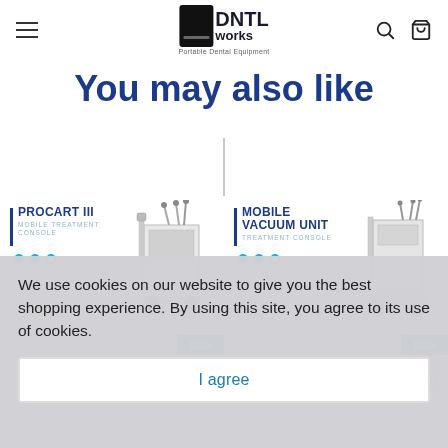DNTL works — Portable Dental Equipment
You may also like
[Figure (photo): PROCART III Mobile Treatment Console product card with sale badge and navigation dots]
[Figure (photo): MOBILE VACUUM UNIT Treatment Console product card with sale badge and navigation dots]
We use cookies on our website to give you the best shopping experience. By using this site, you agree to its use of cookies.
I agree
$2,438.00 USD